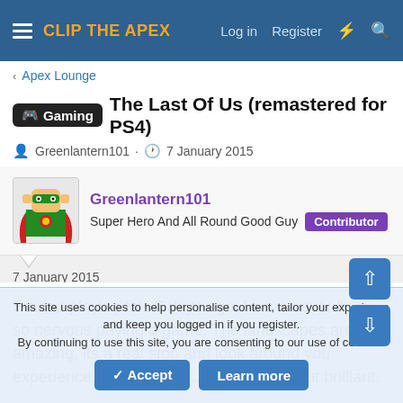CLIP THE APEX | Log in | Register
Apex Lounge
Gaming The Last Of Us (remastered for PS4)
Greenlantern101 · 7 January 2015
Greenlantern101
Super Hero And All Round Good Guy | Contributor
7 January 2015 | #1
Started playing this 2 days ago. I have never been so nervous paying a game. The landscapes are amazing, its a real stop and look around you experience. Just brilliant...not relaxing...but brilliant.
This site uses cookies to help personalise content, tailor your experience and keep you logged in if you register.
By continuing to use this site, you are consenting to our use of cookies.
Accept | Learn more